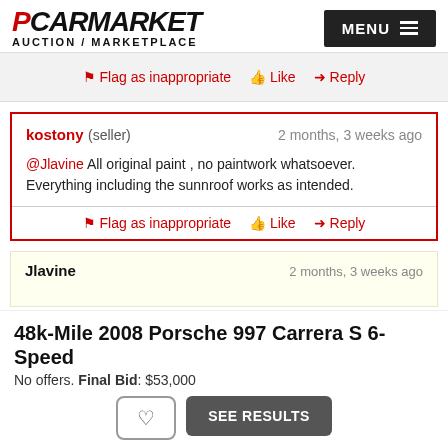PCARMARKET AUCTION / MARKETPLACE | MENU
Flag as inappropriate  Like  Reply
kostony (seller)  2 months, 3 weeks ago
@Jlavine All original paint , no paintwork whatsoever. Everything including the sunnroof works as intended.
Flag as inappropriate  Like  Reply
Jlavine  2 months, 3 weeks ago (partial)
48k-Mile 2008 Porsche 997 Carrera S 6-Speed
No offers. Final Bid: $53,000
SEE RESULTS